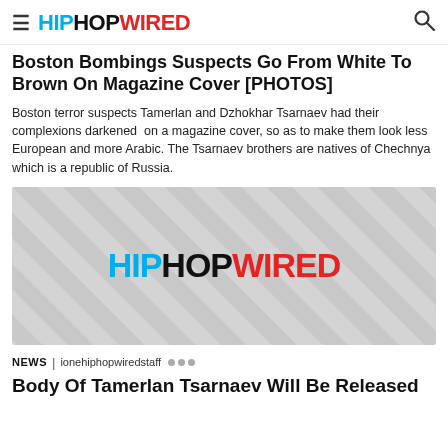HIPHOPWIRED
Boston Bombings Suspects Go From White To Brown On Magazine Cover [PHOTOS]
Boston terror suspects Tamerlan and Dzhokhar Tsarnaev had their complexions darkened on a magazine cover, so as to make them look less European and more Arabic. The Tsarnaev brothers are natives of Chechnya which is a republic of Russia.
[Figure (logo): HipHopWired placeholder image with diagonal stripe pattern and HIPHOPWIRED logo centered]
NEWS | ionehiphopwiredstaff
Body Of Tamerlan Tsarnaev Will Be Released